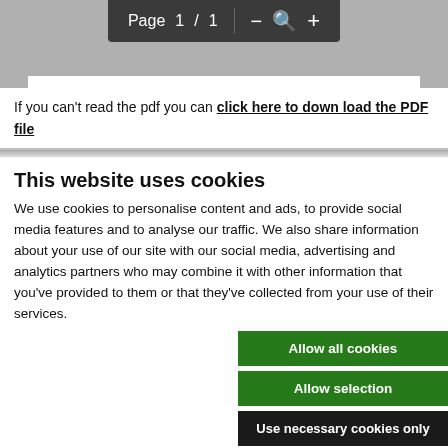[Figure (screenshot): PDF viewer toolbar showing page navigation: Page 1 / 1 with zoom controls (minus, magnify, plus)]
If you can't read the pdf you can click here to download the PDF file
This website uses cookies
We use cookies to personalise content and ads, to provide social media features and to analyse our traffic. We also share information about your use of our site with our social media, advertising and analytics partners who may combine it with other information that you've provided to them or that they've collected from your use of their services.
Allow all cookies
Allow selection
Use necessary cookies only
Necessary  Preferences  Statistics  Marketing  Show details